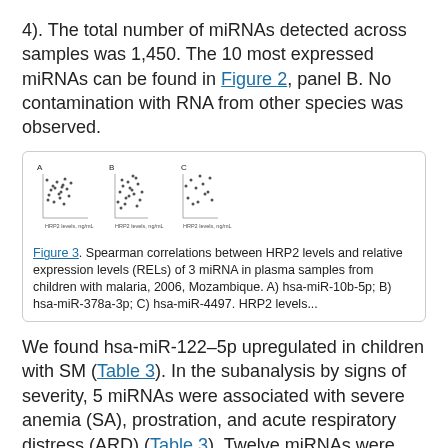4). The total number of miRNAs detected across samples was 1,450. The 10 most expressed miRNAs can be found in Figure 2, panel B. No contamination with RNA from other species was observed.
[Figure (scatter-plot): Three scatter plots (A, B, C) showing Spearman correlations between HRP2 levels and relative expression levels (RELs) of 3 miRNAs in plasma samples from children with malaria, 2006, Mozambique.]
Figure 3. Spearman correlations between HRP2 levels and relative expression levels (RELs) of 3 miRNA in plasma samples from children with malaria, 2006, Mozambique. A) hsa-miR-10b-5p; B) hsa-miR-378a-3p; C) hsa-miR-4497. HRP2 levels...
We found hsa-miR-122–5p upregulated in children with SM (Table 3). In the subanalysis by signs of severity, 5 miRNAs were associated with severe anemia (SA), prostration, and acute respiratory distress (ARD) (Table 3). Twelve miRNAs were associated with PM-agglutination and cytoadhesion to g1CqR (Table 3). We observed no associations